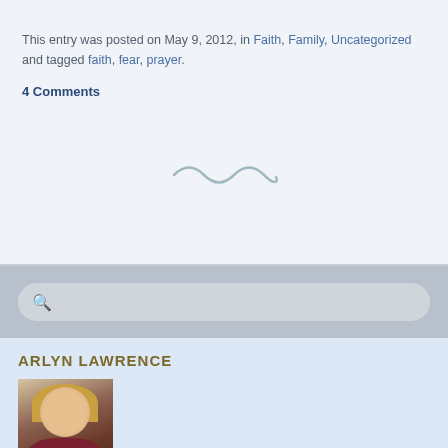This entry was posted on May 9, 2012, in Faith, Family, Uncategorized and tagged faith, fear, prayer.
4 Comments
[Figure (illustration): Decorative wavy tilde/swirl divider]
[Figure (other): Search bar with magnifying glass icon]
ARLYN LAWRENCE
[Figure (photo): Photo of Arlyn Lawrence, a smiling woman with blonde hair wearing a purple top]